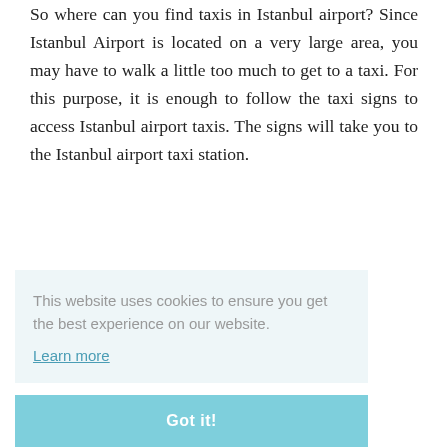So where can you find taxis in Istanbul airport? Since Istanbul Airport is located on a very large area, you may have to walk a little too much to get to a taxi. For this purpose, it is enough to follow the taxi signs to access Istanbul airport taxis. The signs will take you to the Istanbul airport taxi station.
This website uses cookies to ensure you get the best experience on our website.
Learn more
Got it!